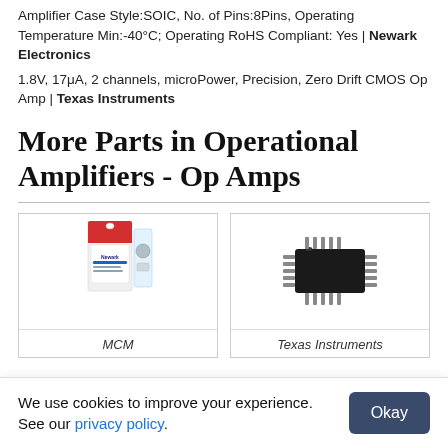Amplifier Case Style:SOIC, No. of Pins:8Pins, Operating Temperature Min:-40°C; Operating RoHS Compliant: Yes | Newark Electronics
1.8V, 17μA, 2 channels, microPower, Precision, Zero Drift CMOS Op Amp | Texas Instruments
More Parts in Operational Amplifiers - Op Amps
[Figure (photo): Product photo of a retail-packaged electronic component (MCM brand)]
[Figure (photo): Photo of a Texas Instruments IC chip in SOIC-20 package]
MCM
Texas Instruments
We use cookies to improve your experience. See our privacy policy.